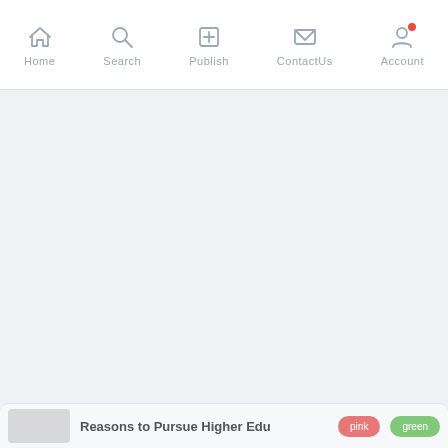Home  Search  Publish  ContactUs  Account
[Figure (screenshot): Large empty light gray content area below navigation bar]
Reasons to Pursue Higher Edu